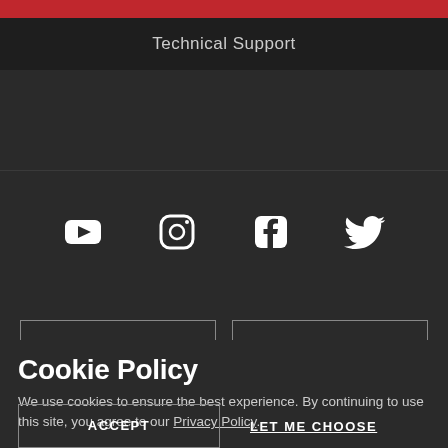Technical Support
[Figure (illustration): Social media icons: YouTube, Instagram, Facebook, Twitter in white on dark background]
Cookie Policy
We use cookies to ensure the best experience. By continuing to use this site, you agree to our Privacy Policy.
ACCEPT
LET ME CHOOSE